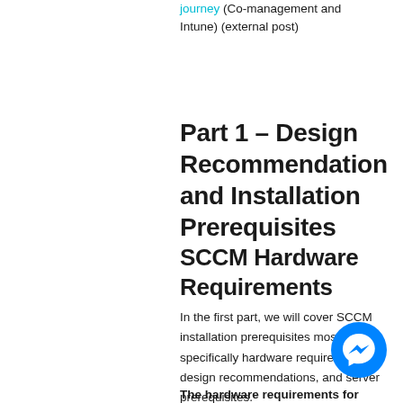journey (Co-management and Intune) (external post)
Part 1 – Design Recommendation and Installation Prerequisites
SCCM Hardware Requirements
In the first part, we will cover SCCM installation prerequisites most specifically hardware requirements, design recommendations, and server prerequisites.
The hardware requirements for